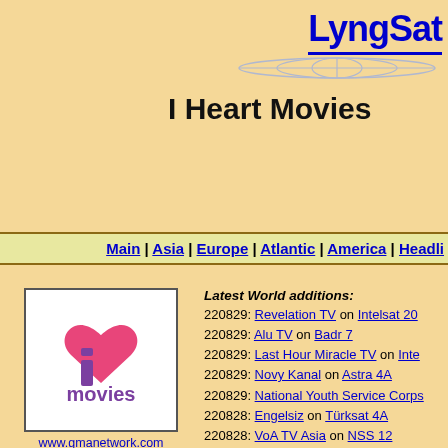LyngSat
I Heart Movies
Main | Asia | Europe | Atlantic | America | Headlines
[Figure (logo): I Love Movies logo with pink heart and purple text, www.gmanetwork.com Philippines]
Latest World additions:
220829: Revelation TV on Intelsat 20
220829: Alu TV on Badr 7
220829: Last Hour Miracle TV on Inte...
220829: Novy Kanal on Astra 4A
220829: National Youth Service Corps...
220828: Engelsiz on Türksat 4A
220828: VoA TV Asia on NSS 12
220828: Al Rabiaa TV on Eutelsat 7 W...